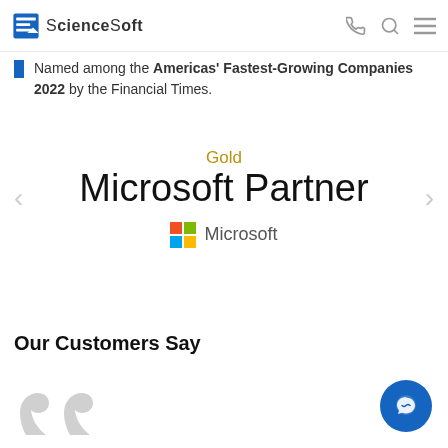ScienceSoft
Named among the Americas' Fastest-Growing Companies 2022 by the Financial Times.
[Figure (logo): Gold Microsoft Partner badge with Microsoft logo (four colored squares: red, green, blue, yellow) and the text 'Gold Microsoft Partner']
Our Customers Say
[Figure (illustration): Large grey quotation marks decoration]